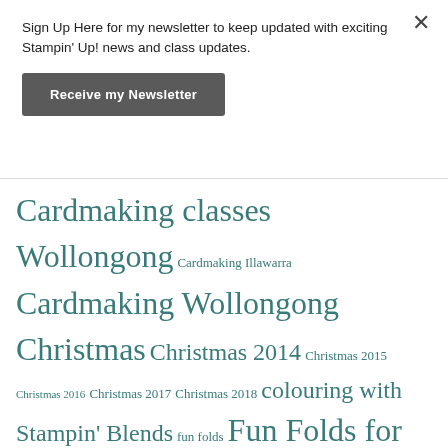Sign Up Here for my newsletter to keep updated with exciting Stampin' Up! news and class updates.
Receive my Newsletter
Cardmaking classes Wollongong Cardmaking Illawarra Cardmaking Wollongong Christmas Christmas 2014 Christmas 2015 Christmas 2016 Christmas 2017 Christmas 2018 colouring with Stampin' Blends fun folds Fun Folds for cards gift bags Gift Boxes Join Stampin' Up! Masculine masculine cards Order Stampin' Up! Order Stampin' Up! online Order Stampin' Up! products Shop Online for Stampin' Up! Shop Online Stampin' Up! Shop Stampin' Up! shop Stampin' Up!